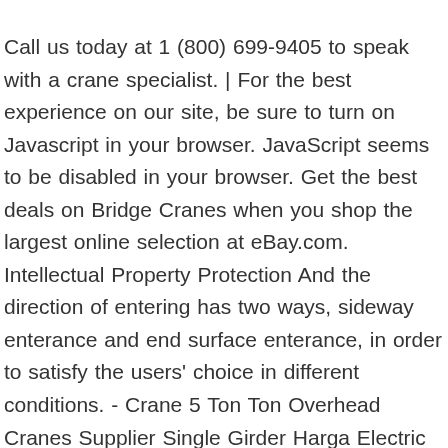Call us today at 1 (800) 699-9405 to speak with a crane specialist. | For the best experience on our site, be sure to turn on Javascript in your browser. JavaScript seems to be disabled in your browser. Get the best deals on Bridge Cranes when you shop the largest online selection at eBay.com. Intellectual Property Protection And the direction of entering has two ways, sideway enterance and end surface enterance, in order to satisfy the users' choice in different conditions. - Crane 5 Ton Ton Overhead Cranes Supplier Single Girder Harga Electric Motor Driven Overhead Crane 5 Ton, Ton Bridge Crane 20 Ton Hoist 0.5 Ton~20 Ton Bridge Crane System With Hoists For Sale, 5 Ton Bridge Crane Monorail 5 Ton Workshop Bridge Crane Price, Bridge Crane 5 Ton Bridge Cranes Single Beam Traveling Overhead Bridge Crane Price 5 10 20 Ton, Bridge